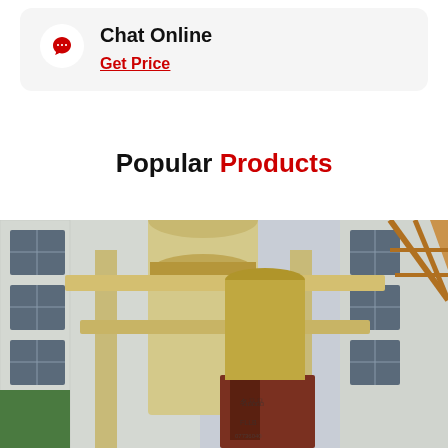Chat Online
Get Price
Popular Products
[Figure (photo): Industrial milling or grinding machine equipment outdoors, showing large cylindrical towers with structural steel framework, beige/cream colored machinery against a building facade with grid windows.]